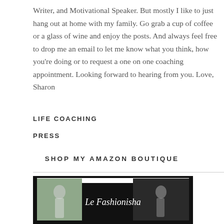Writer, and Motivational Speaker. But mostly I like to just hang out at home with my family. Go grab a cup of coffee or a glass of wine and enjoy the posts. And always feel free to drop me an email to let me know what you think, how you're doing or to request a one on one coaching appointment. Looking forward to hearing from you. Love, Sharon
LIFE COACHING
PRESS
SHOP MY AMAZON BOUTIQUE
[Figure (photo): Le Fashionisha banner image showing two women in casual outfits with the text 'Le Fashionisha' overlaid on a dark background]